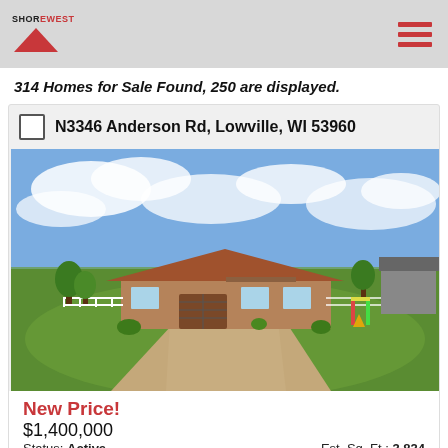Shorewest logo and navigation menu
314 Homes for Sale Found, 250 are displayed.
N3346 Anderson Rd, Lowville, WI 53960
[Figure (photo): Exterior photo of a single-story ranch-style home with brick/stone facade, two-car garage, gravel circular driveway, large green lawn, trees, and a children's playground set visible to the right. Blue sky with clouds in the background.]
New Price!
$1,400,000
Status: Active                Est. Sq. Ft.: 3,824